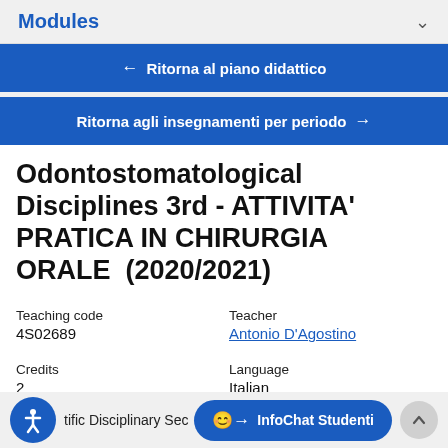Modules
← Ritorna al piano didattico
Ritorna agli insegnamenti per periodo →
Odontostomatological Disciplines 3rd - ATTIVITA' PRATICA IN CHIRURGIA ORALE  (2020/2021)
Teaching code
4S02689
Teacher
Antonio D'Agostino
Credits
2
Language
Italian
tific Disciplinary Sec
InfoChat Studenti